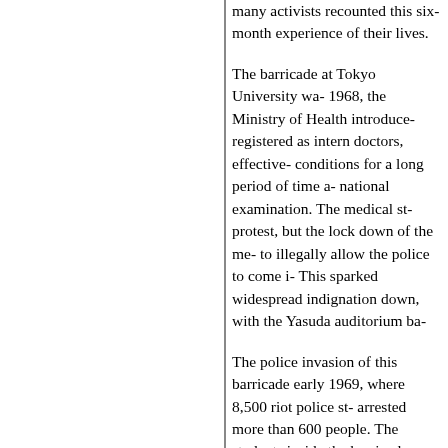many activists recounted this six-month experience of their lives.
The barricade at Tokyo University wa- 1968, the Ministry of Health introduce- registered as intern doctors, effective- conditions for a long period of time a- national examination. The medical st- protest, but the lock down of the me- to illegally allow the police to come i- This sparked widespread indignation down, with the Yasuda auditorium ba-
The police invasion of this barricade early 1969, where 8,500 riot police s- arrested more than 600 people. The students inside the barricade. Chieko recounted that Minsei students and n- the top of the building in an attempt t- into corridors to be arrested by riot p-
Adadchi Kazuhiro, a research assista- inside the barricade who were are or- simply corruption they are fighting ag- university. He pleaded to them: the u- as a factory to produce workers for th- Pro-nation-state JCP elites and their struggle.